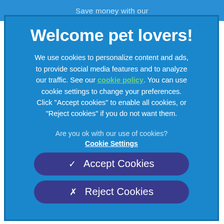Save money with our
Welcome pet lovers!
We use cookies to personalize content and ads, to provide social media features and to analyze our traffic. See our cookie policy. You can use cookie settings to change your preferences. Click "Accept cookies" to enable all cookies, or "Reject cookies" if you do not want them.
Are you ok with our use of cookies?
Cookie Settings
✓  Accept Cookies
✗  Reject Cookies